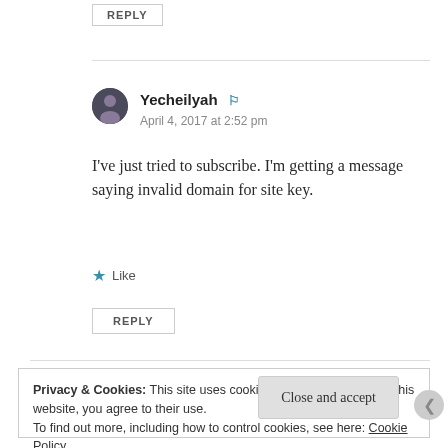REPLY
Yecheilyah
April 4, 2017 at 2:52 pm
I've just tried to subscribe. I'm getting a message saying invalid domain for site key.
Like
REPLY
Privacy & Cookies: This site uses cookies. By continuing to use this website, you agree to their use.
To find out more, including how to control cookies, see here: Cookie Policy
Close and accept